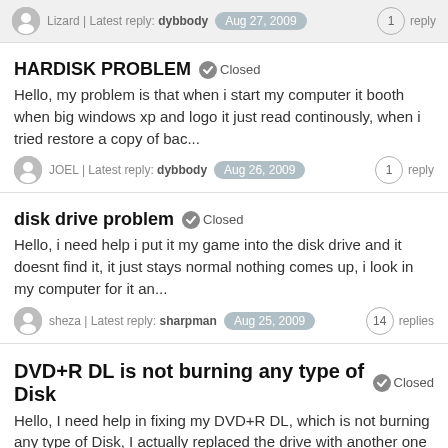Lizard | Latest reply: dybbody  Aug 27, 2009  1 reply
HARDISK PROBLEM  Closed
Hello, my problem is that when i start my computer it booth when big windows xp and logo it just read continously, when i tried restore a copy of bac...
JOEL | Latest reply: dybbody  Aug 26, 2009  1 reply
disk drive problem  Closed
Hello, i need help i put it my game into the disk drive and it doesnt find it, it just stays normal nothing comes up, i look in my computer for it an...
sheza | Latest reply: sharpman  Aug 25, 2009  14 replies
DVD+R DL is not burning any type of Disk  Closed
Hello, I need help in fixing my DVD+R DL, which is not burning any type of Disk, I actually replaced the drive with another one but is still does not...
nilow | Latest reply: nilow  Aug 23, 2009  2 replies